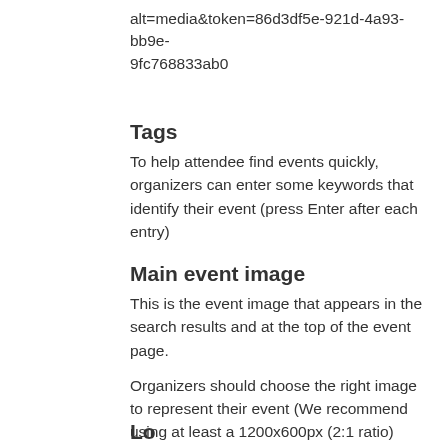alt=media&token=86d3df5e-921d-4a93-bb9e-9fc768833ab0
Tags
To help attendee find events quickly, organizers can enter some keywords that identify their event (press Enter after each entry)
Main event image
This is the event image that appears in the search results and at the top of the event page.
Organizers should choose the right image to represent their event (We recommend using at least a 1200x600px (2:1 ratio) image )
Logo